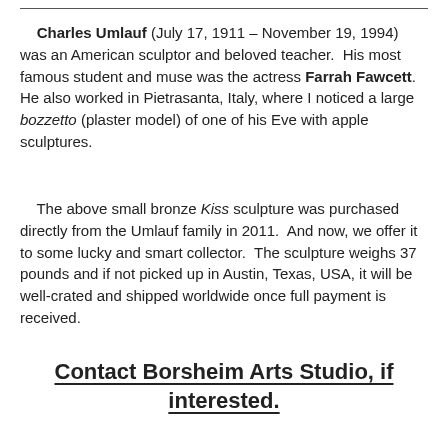Charles Umlauf (July 17, 1911 – November 19, 1994) was an American sculptor and beloved teacher. His most famous student and muse was the actress Farrah Fawcett. He also worked in Pietrasanta, Italy, where I noticed a large bozzetto (plaster model) of one of his Eve with apple sculptures.
The above small bronze Kiss sculpture was purchased directly from the Umlauf family in 2011. And now, we offer it to some lucky and smart collector. The sculpture weighs 37 pounds and if not picked up in Austin, Texas, USA, it will be well-crated and shipped worldwide once full payment is received.
Contact Borsheim Arts Studio, if interested.